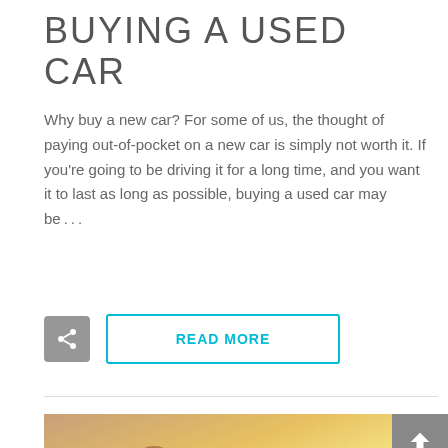BUYING A USED CAR
Why buy a new car? For some of us, the thought of paying out-of-pocket on a new car is simply not worth it. If you're going to be driving it for a long time, and you want it to last as long as possible, buying a used car may be...
[Figure (infographic): Share button (grey square with share icon) and READ MORE button (cyan outlined rectangle with bold cyan uppercase text)]
[Figure (photo): Photo of two people smiling in and around a car, warm golden light, one person wearing sunglasses]